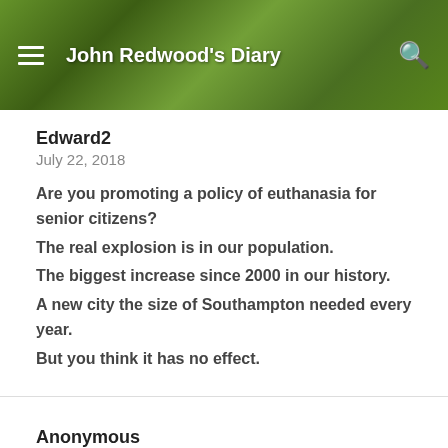John Redwood's Diary
Edward2
July 22, 2018
Are you promoting a policy of euthanasia for senior citizens?
The real explosion is in our population.
The biggest increase since 2000 in our history.
A new city the size of Southampton needed every year.
But you think it has no effect.
Anonymous
July 21, 2018
I am fast approaching pensionable age. My lump sum is already going to my extremely highly qualified sons in order to